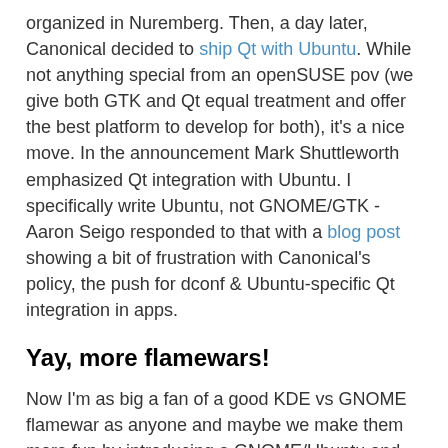organized in Nuremberg. Then, a day later, Canonical decided to ship Qt with Ubuntu. While not anything special from an openSUSE pov (we give both GTK and Qt equal treatment and offer the best platform to develop for both), it's a nice move. In the announcement Mark Shuttleworth emphasized Qt integration with Ubuntu. I specifically write Ubuntu, not GNOME/GTK - Aaron Seigo responded to that with a blog post showing a bit of frustration with Canonical's policy, the push for dconf & Ubuntu-specific Qt integration in apps.
Yay, more flamewars!
Now I'm as big a fan of a good KDE vs GNOME flamewar as anyone and maybe we make them more fun by introducing a GNOME/Ubuntu and Qt/Ubuntu set of apps (what seems to be going on since Mark announced Unity as default in Ubuntu). More splitting up = more fun, and openSUSE's tagline is 'have fun' so maybe we've been going at this all wrong.